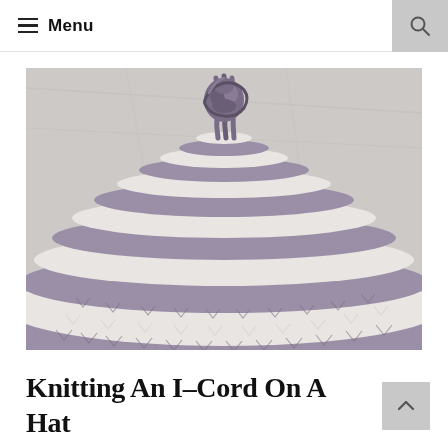Menu
[Figure (photo): Close-up photograph of the top of a knitted hat showing an i-cord knot at the crown, with alternating stripes of grey/purple and white yarn in a stockinette knit pattern, against a light marble background.]
Knitting An I-Cord On A Hat